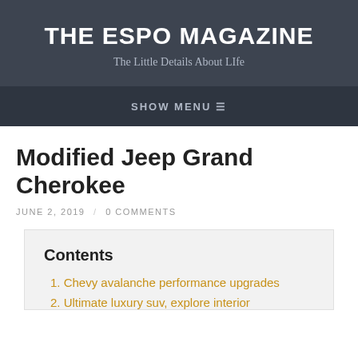THE ESPO MAGAZINE
The Little Details About LIfe
SHOW MENU
Modified Jeep Grand Cherokee
JUNE 2, 2019 / 0 COMMENTS
Contents
1. Chevy avalanche performance upgrades
2. Ultimate luxury suv, explore interior